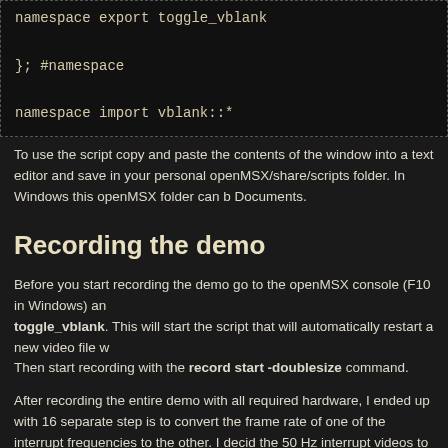[Figure (screenshot): Code block showing namespace export toggle_vblank, }; #namespace, namespace import vblank::*]
To use the script copy and paste the contents of the window into a text editor and save in your personal openMSX/share/scripts folder. In Windows this openMSX folder can b Documents.
Recording the demo
Before you start recording the demo go to the openMSX console (F10 in Windows) and toggle_vblank. This will start the script that will automatically restart a new video file w Then start recording with the record start -doublesize command.
After recording the entire demo with all required hardware, I ended up with 16 separate step is to convert the frame rate of one of the interrupt frequencies to the other. I decid the 50 Hz interrupt videos to 60 Hz. To do all this I used VirtualDub. It's possible to do conversions in one go. I'll list the conversions you'll need to do.
All of these settings need to be exactly the same for all video fragments to allow them together in one video file!
Frame rate conversion
To convert the frame rate follow Video, Frame Rate..., Frame rate conversion, Convert you need to enter two values indicating the frame rate. In openMSX 50 Hz is calculate following values: 50158973 and 1000000. 60 Hz is calculated with 59922743 and 100